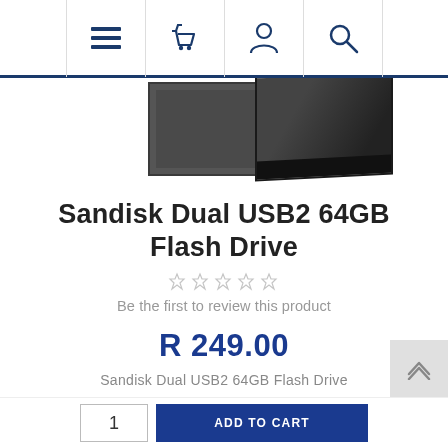[Figure (screenshot): Website navigation bar with hamburger menu, shopping basket, user account, and search icons]
[Figure (photo): Partial product images of Sandisk Dual USB2 64GB Flash Drive showing two views of the black device]
Sandisk Dual USB2 64GB Flash Drive
[Figure (other): Five empty star rating icons]
Be the first to review this product
R 249.00
Sandisk Dual USB2 64GB Flash Drive
SKU: SDDD1-064G-G35
ADD TO CART